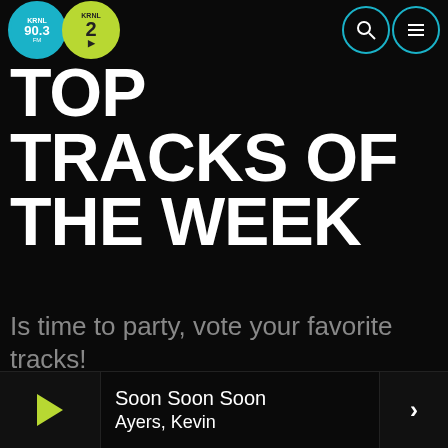KRNL 90.3 / KRNL 2 — navigation header with search and menu icons
TOP TRACKS OF THE WEEK
Is time to party, vote your favorite tracks!
Soon Soon Soon
Ayers, Kevin